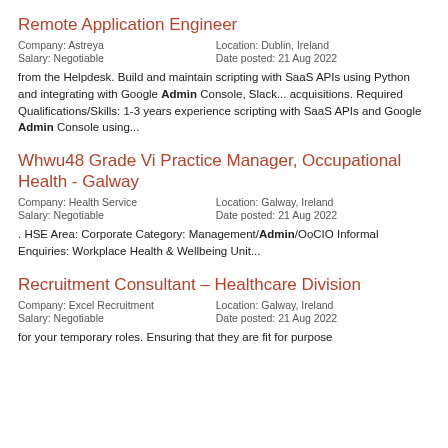Remote Application Engineer
Company: Astreya   Location: Dublin, Ireland
Salary: Negotiable   Date posted: 21 Aug 2022
from the Helpdesk. Build and maintain scripting with SaaS APIs using Python and integrating with Google Admin Console, Slack... acquisitions. Required Qualifications/Skills: 1-3 years experience scripting with SaaS APIs and Google Admin Console using...
Whwu48 Grade Vi Practice Manager, Occupational Health - Galway
Company: Health Service   Location: Galway, Ireland
Salary: Negotiable   Date posted: 21 Aug 2022
. HSE Area: Corporate Category: Management/Admin/OoCIO Informal Enquiries: Workplace Health & Wellbeing Unit...
Recruitment Consultant – Healthcare Division
Company: Excel Recruitment   Location: Galway, Ireland
Salary: Negotiable   Date posted: 21 Aug 2022
for your temporary roles. Ensuring that they are fit for purpose